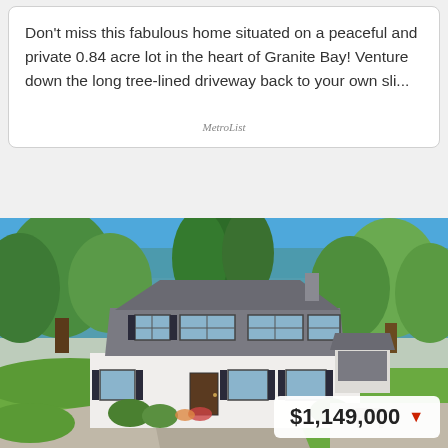Don't miss this fabulous home situated on a peaceful and private 0.84 acre lot in the heart of Granite Bay! Venture down the long tree-lined driveway back to your own sli...
MetroList
[Figure (photo): Exterior photo of a two-story white house with dark shutters situated on a large lot with tall trees, green landscaping, a circular driveway, and a price badge showing $1,149,000 with a red down arrow.]